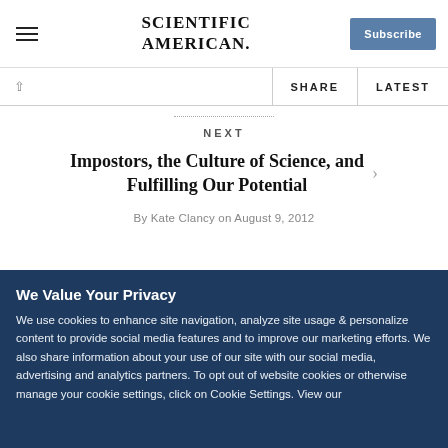SCIENTIFIC AMERICAN — Subscribe
SHARE   LATEST
Impostors, the Culture of Science, and Fulfilling Our Potential
By Kate Clancy on August 9, 2012
We Value Your Privacy
We use cookies to enhance site navigation, analyze site usage & personalize content to provide social media features and to improve our marketing efforts. We also share information about your use of our site with our social media, advertising and analytics partners. To opt out of website cookies or otherwise manage your cookie settings, click on Cookie Settings. View our